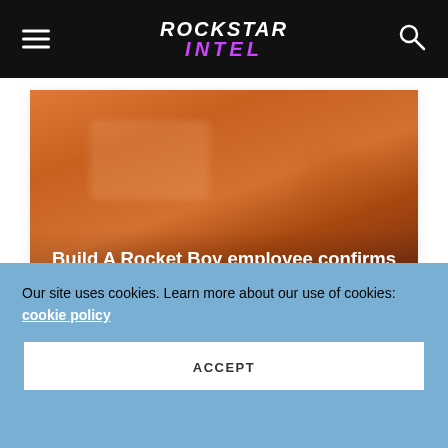ROCKSTAR INTEL
[Figure (photo): Hero image with orange/warm toned blurred background showing article thumbnail for 'Build A Rocket Boy employee confirms no plans for NFTS in EVERYWHERE game']
Build A Rocket Boy employee confirms no plans for NFTS in EVERYWHERE game
KYLE EVANS - AUGUST 24, 2022
Latest News
Our site uses cookies. Learn more about our use of cookies: cookie policy
ACCEPT